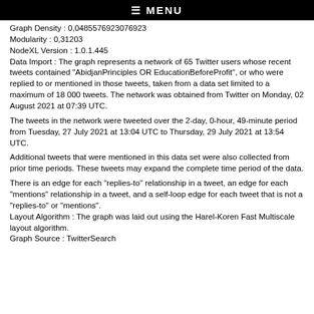≡ MENU
Graph Density : 0,0485576923076923
Modularity : 0,31203
NodeXL Version : 1.0.1.445
Data Import : The graph represents a network of 65 Twitter users whose recent tweets contained "AbidjanPrinciples OR EducationBeforeProfit", or who were replied to or mentioned in those tweets, taken from a data set limited to a maximum of 18 000 tweets. The network was obtained from Twitter on Monday, 02 August 2021 at 07:39 UTC.
The tweets in the network were tweeted over the 2-day, 0-hour, 49-minute period from Tuesday, 27 July 2021 at 13:04 UTC to Thursday, 29 July 2021 at 13:54 UTC.
Additional tweets that were mentioned in this data set were also collected from prior time periods. These tweets may expand the complete time period of the data.
There is an edge for each "replies-to" relationship in a tweet, an edge for each "mentions" relationship in a tweet, and a self-loop edge for each tweet that is not a "replies-to" or "mentions".
Layout Algorithm : The graph was laid out using the Harel-Koren Fast Multiscale layout algorithm.
Graph Source : TwitterSearch